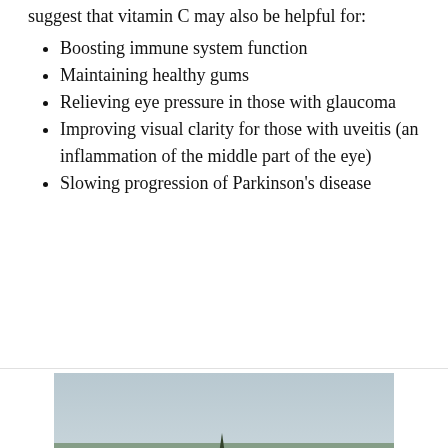suggest that vitamin C may also be helpful for:
Boosting immune system function
Maintaining healthy gums
Relieving eye pressure in those with glaucoma
Improving visual clarity for those with uveitis (an inflammation of the middle part of the eye)
Slowing progression of Parkinson's disease
[Figure (photo): Advertisement banner showing a forest and river landscape with text 'Recently diagnosed with bipolar disorder? DOWNLOAD OUR FREE EBOOK NOW.']
advertisement